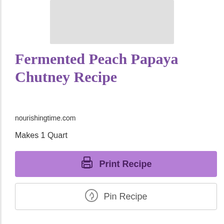[Figure (other): Gray placeholder image at top center of page]
Fermented Peach Papaya Chutney Recipe
nourishingtime.com
Makes 1 Quart
Print Recipe
Pin Recipe